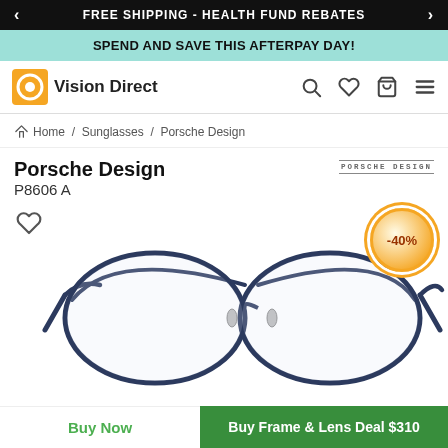FREE SHIPPING - HEALTH FUND REBATES
SPEND AND SAVE THIS AFTERPAY DAY!
Vision Direct
Home / Sunglasses / Porsche Design
Porsche Design P8606 A
[Figure (photo): Porsche Design P8606 A eyeglasses with dark navy blue aviator-style metal frame and clear lenses, shown at three-quarter angle. A -40% discount badge is shown in the top right corner.]
Buy Now
Buy Frame & Lens Deal $310